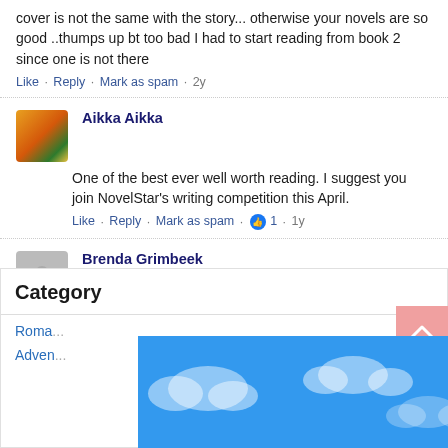cover is not the same with the story... otherwise your novels are so good ..thumps up bt too bad I had to start reading from book 2 since one is not there
Like · Reply · Mark as spam · 2y
Aikka Aikka
One of the best ever well worth reading. I suggest you join NovelStar's writing competition this April.
Like · Reply · Mark as spam · 👍 1 · 1y
Brenda Grimbeek
Love the books you share. Awesome authors.
Like · Reply · Mark as spam · 1y
Facebook Comments Plugin
Category
Roma...
Adven...
[Figure (illustration): Blue sky with white clouds overlay in bottom-right area of page]